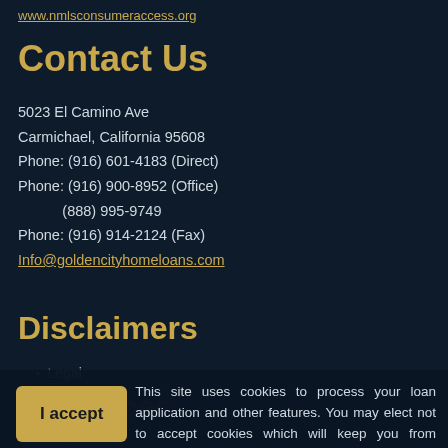www.nmlsconsumeraccess.org
Contact Us
5023 El Camino Ave
Carmichael, California 95608
Phone: (916) 601-4183 (Direct)
Phone: (916) 900-8952 (Office)
         (888) 995-9749
Phone: (916) 914-2124 (Fax)
Info@goldencityhomeloans.com
Disclaimers
Legal
This site uses cookies to process your loan application and other features. You may elect not to accept cookies which will keep you from submitting a loan application. By your clicked consent/acceptance you acknowledge and allow the use of cookies. By clicking I Accept you acknowledge you have read and understand Golden Rate Services LLC/DBA Golden City Home Loan's Privacy Policy.
Resources
Loan Programs
Loan Process
Mortgage Basics
Mortgage Calculators